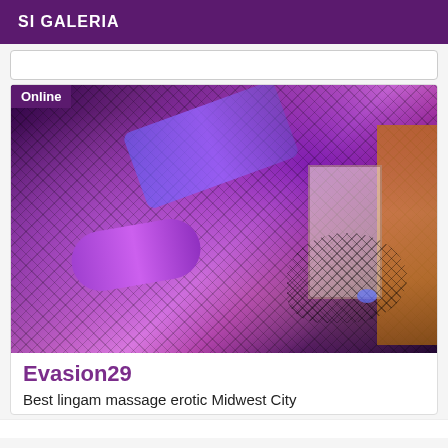SI GALERIA
[Figure (photo): Photo of legs wearing fishnet stockings in a purple/violet lit room with orange accents. An 'Online' badge appears in the top-left corner.]
Evasion29
Best lingam massage erotic Midwest City